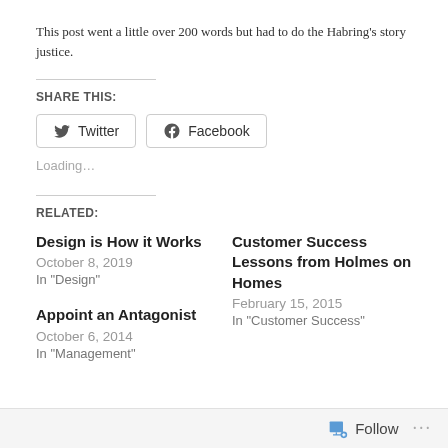This post went a little over 200 words but had to do the Habring's story justice.
SHARE THIS:
Loading...
RELATED:
Design is How it Works
October 8, 2019
In "Design"
Customer Success Lessons from Holmes on Homes
February 15, 2015
In "Customer Success"
Appoint an Antagonist
October 6, 2014
In "Management"
Follow ...